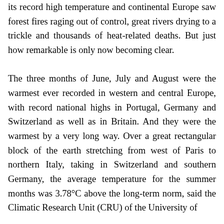its record high temperature and continental Europe saw forest fires raging out of control, great rivers drying to a trickle and thousands of heat-related deaths. But just how remarkable is only now becoming clear.

The three months of June, July and August were the warmest ever recorded in western and central Europe, with record national highs in Portugal, Germany and Switzerland as well as in Britain. And they were the warmest by a very long way. Over a great rectangular block of the earth stretching from west of Paris to northern Italy, taking in Switzerland and southern Germany, the average temperature for the summer months was 3.78°C above the long-term norm, said the Climatic Research Unit (CRU) of the University of